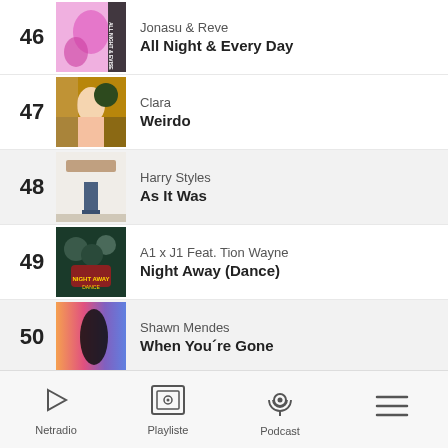46 Jonasu & Reve – All Night & Every Day
47 Clara – Weirdo
48 Harry Styles – As It Was
49 A1 x J1 Feat. Tion Wayne – Night Away (Dance)
50 Shawn Mendes – When You´re Gone
Netradio  Playliste  Podcast